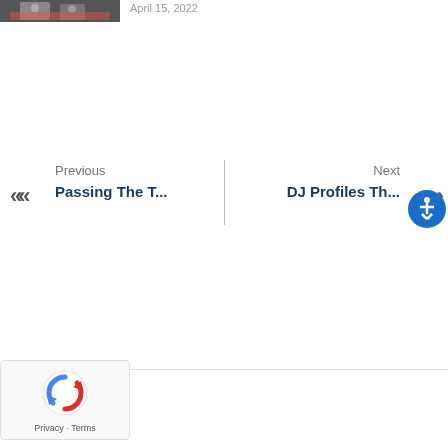[Figure (photo): Partial view of a photo showing people, cropped at top of page]
April 15, 2022
« Previous Passing The T... | Next DJ Profiles Th... »
[Figure (other): Accessibility icon button (blue circle with white person icon)]
[Figure (other): reCAPTCHA widget with logo and Privacy - Terms text]